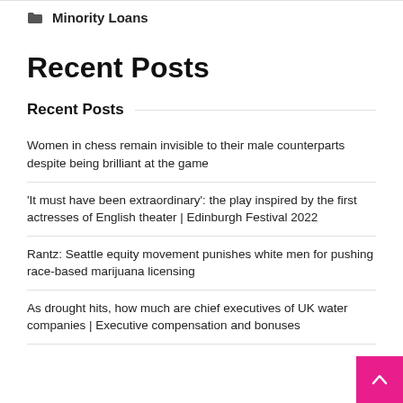Minority Loans
Recent Posts
Recent Posts
Women in chess remain invisible to their male counterparts despite being brilliant at the game
‘It must have been extraordinary’: the play inspired by the first actresses of English theater | Edinburgh Festival 2022
Rantz: Seattle equity movement punishes white men for pushing race-based marijuana licensing
As drought hits, how much are chief executives of UK water companies | Executive compensation and bonuses